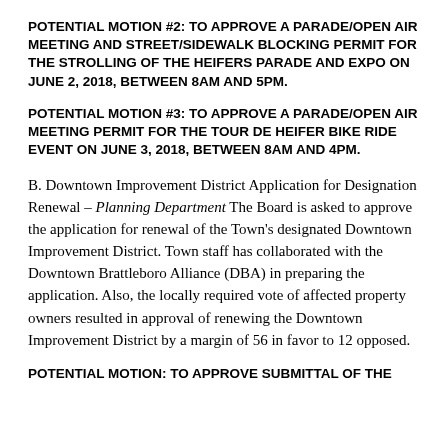POTENTIAL MOTION #2: TO APPROVE A PARADE/OPEN AIR MEETING AND STREET/SIDEWALK BLOCKING PERMIT FOR THE STROLLING OF THE HEIFERS PARADE AND EXPO ON JUNE 2, 2018, BETWEEN 8AM AND 5PM.
POTENTIAL MOTION #3: TO APPROVE A PARADE/OPEN AIR MEETING PERMIT FOR THE TOUR DE HEIFER BIKE RIDE EVENT ON JUNE 3, 2018, BETWEEN 8AM AND 4PM.
B. Downtown Improvement District Application for Designation Renewal – Planning Department The Board is asked to approve the application for renewal of the Town's designated Downtown Improvement District. Town staff has collaborated with the Downtown Brattleboro Alliance (DBA) in preparing the application. Also, the locally required vote of affected property owners resulted in approval of renewing the Downtown Improvement District by a margin of 56 in favor to 12 opposed.
POTENTIAL MOTION: TO APPROVE SUBMITTAL OF THE